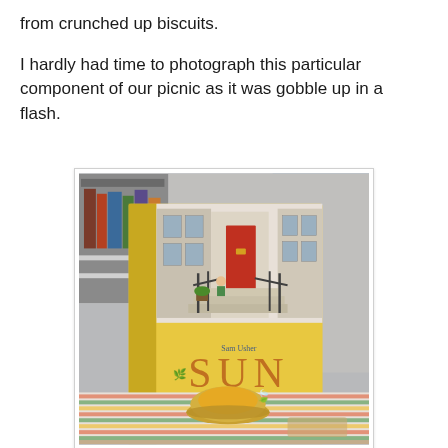from crunched up biscuits.
I hardly had time to photograph this particular component of our picnic as it was gobble up in a flash.
[Figure (photo): A photograph of a children's picture book titled 'SUN' by Sam Usher, stood upright on a wooden table. The book cover shows an illustrated scene of steps leading to a red door, with iron railings on either side and a child sitting on the steps. In the foreground is a bowl of what appears to be jelly or custard on a striped cloth, with some food crumbs visible.]